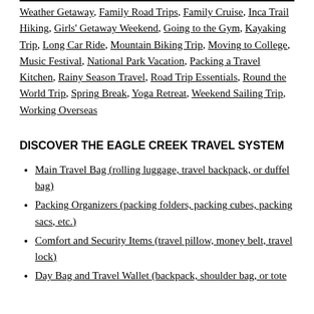Weather Getaway, Family Road Trips, Family Cruise, Inca Trail Hiking, Girls' Getaway Weekend, Going to the Gym, Kayaking Trip, Long Car Ride, Mountain Biking Trip, Moving to College, Music Festival, National Park Vacation, Packing a Travel Kitchen, Rainy Season Travel, Road Trip Essentials, Round the World Trip, Spring Break, Yoga Retreat, Weekend Sailing Trip, Working Overseas
DISCOVER THE EAGLE CREEK TRAVEL SYSTEM
Main Travel Bag (rolling luggage, travel backpack, or duffel bag)
Packing Organizers (packing folders, packing cubes, packing sacs, etc.)
Comfort and Security Items (travel pillow, money belt, travel lock)
Day Bag and Travel Wallet (backpack, shoulder bag, or tote